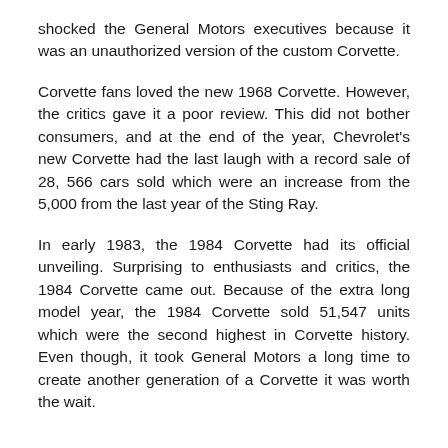shocked the General Motors executives because it was an unauthorized version of the custom Corvette.
Corvette fans loved the new 1968 Corvette. However, the critics gave it a poor review. This did not bother consumers, and at the end of the year, Chevrolet's new Corvette had the last laugh with a record sale of 28, 566 cars sold which were an increase from the 5,000 from the last year of the Sting Ray.
In early 1983, the 1984 Corvette had its official unveiling. Surprising to enthusiasts and critics, the 1984 Corvette came out. Because of the extra long model year, the 1984 Corvette sold 51,547 units which were the second highest in Corvette history. Even though, it took General Motors a long time to create another generation of a Corvette it was worth the wait.